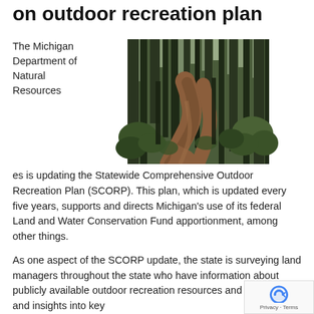on outdoor recreation plan
The Michigan Department of Natural Resources is updating the Statewide Comprehensive Outdoor Recreation Plan (SCORP). This plan, which is updated every five years, supports and directs Michigan’s use of its federal Land and Water Conservation Fund apportionment, among other things.
[Figure (photo): A winding dirt trail through a dense green forest with ferns and tall trees.]
As one aspect of the SCORP update, the state is surveying land managers throughout the state who have information about publicly available outdoor recreation resources and facilities, and insights into key